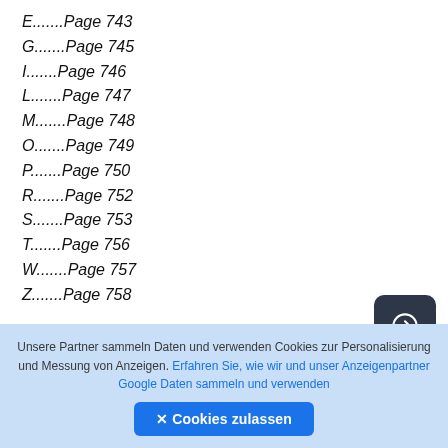E.......Page 743
G.......Page 745
I.......Page 746
L.......Page 747
M.......Page 748
O.......Page 749
P.......Page 750
R.......Page 752
S.......Page 753
T.......Page 756
W.......Page 757
Z.......Page 758
Citation preview
Unsere Partner sammeln Daten und verwenden Cookies zur Personalisierung und Messung von Anzeigen. Erfahren Sie, wie wir und unser Anzeigenpartner Google Daten sammeln und verwenden ✕ Cookies zulassen